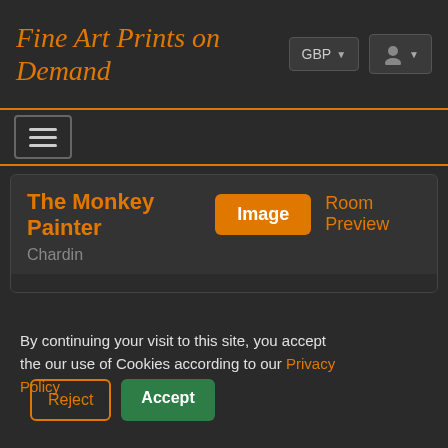Fine Art Prints on Demand
GBP
[Figure (screenshot): User account icon button with dropdown arrow]
[Figure (screenshot): Hamburger menu toggle button with three horizontal bars]
The Monkey Painter
Chardin
Image
Room Preview
By continuing your visit to this site, you accept the our use of Cookies according to our Privacy Policy
Reject
Accept